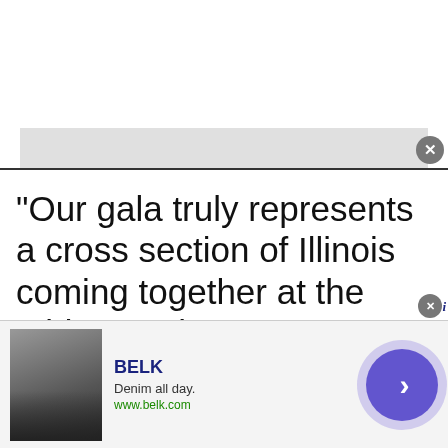[Figure (screenshot): Top advertisement banner area, white background with grey strip at bottom and close button (X)]
"Our gala truly represents a cross section of Illinois coming together at the Midwest's largest LGBT formal event," said Bernard
Cherkasov, CEO of Equality Illinois.
We use cookies.
Yes, we use cookies to ensure we give you the best experience using this website.
By closing this box or clicking on the continue button, you agree to our terms of use and consent to the use of
[Figure (screenshot): Bottom advertisement banner for BELK: 'Denim all day. www.belk.com' with thumbnail images and a purple circular arrow button]